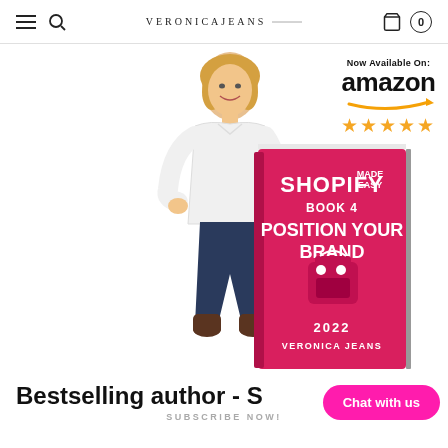VERONICAJEANS
[Figure (photo): Woman standing next to a large book titled 'Shopify Made Easy Book 4 Position Your Brand 2022 Veronica Jeans' with Amazon 5-star badge on right side]
Bestselling author - S
SUBSCRIBE NOW!